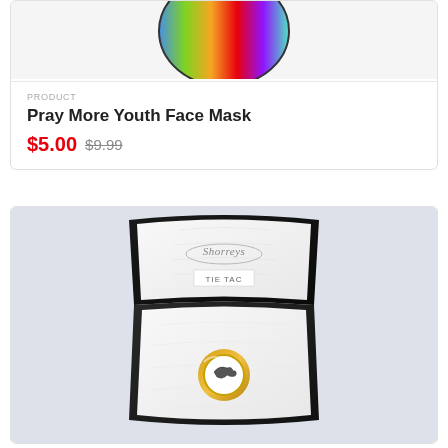[Figure (photo): Partial image of a face mask at the top of the page, showing bottom portion with colorful design]
PRODUCT
Pray More Youth Face Mask
$5.00 $9.99
[Figure (photo): A gold tie tack/lapel pin in a black jewelry box with white satin lining, branded 'Shorreys', labeled TIE TAC]